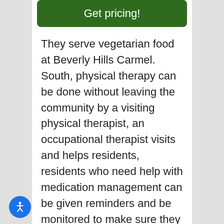Get pricing!
They serve vegetarian food at Beverly Hills Carmel. South, physical therapy can be done without leaving the community by a visiting physical therapist, an occupational therapist visits and helps residents, residents who need help with medication management can be given reminders and be monitored to make sure they are taking their medications, this property administers patient medications, hospice is an option available at this location, and respite care is offered.
[Figure (illustration): Accessibility icon - blue circle with white wheelchair/person symbol]